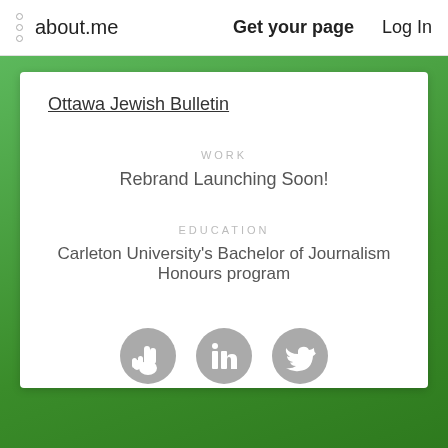about.me   Get your page   Log In
Ottawa Jewish Bulletin
WORK
Rebrand Launching Soon!
EDUCATION
Carleton University's Bachelor of Journalism Honours program
[Figure (illustration): Three gray circular social icons: a peace/victory hand sign, LinkedIn logo, and Twitter bird logo]